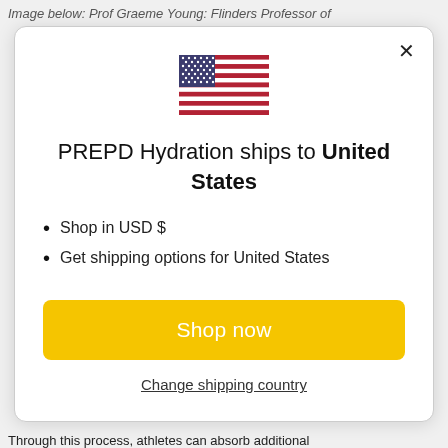Image below: Prof Graeme Young: Flinders Professor of
[Figure (illustration): US flag SVG illustration]
PREPD Hydration ships to United States
Shop in USD $
Get shipping options for United States
Shop now
Change shipping country
Through this process, athletes can absorb additional